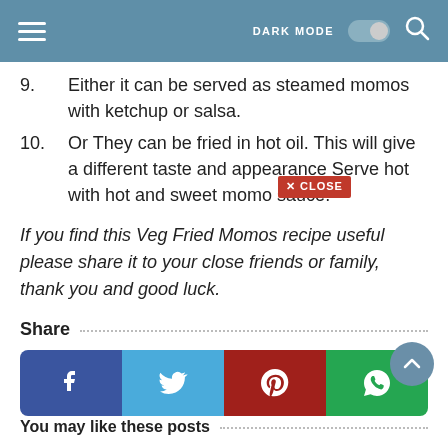DARK MODE
9. Either it can be served as steamed momos with ketchup or salsa.
10. Or They can be fried in hot oil. This will give a different taste and appearance Serve hot with hot and sweet momo sauce.
If you find this Veg Fried Momos recipe useful please share it to your close friends or family, thank you and good luck.
Share
[Figure (infographic): Social share buttons: Facebook, Twitter, Pinterest, WhatsApp]
You may like these posts